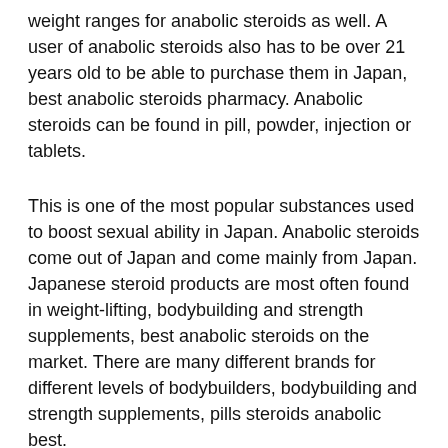weight ranges for anabolic steroids as well. A user of anabolic steroids also has to be over 21 years old to be able to purchase them in Japan, best anabolic steroids pharmacy. Anabolic steroids can be found in pill, powder, injection or tablets.
This is one of the most popular substances used to boost sexual ability in Japan. Anabolic steroids come out of Japan and come mainly from Japan. Japanese steroid products are most often found in weight-lifting, bodybuilding and strength supplements, best anabolic steroids on the market. There are many different brands for different levels of bodybuilders, bodybuilding and strength supplements, pills steroids anabolic best.
The best anabolic steroids on the market